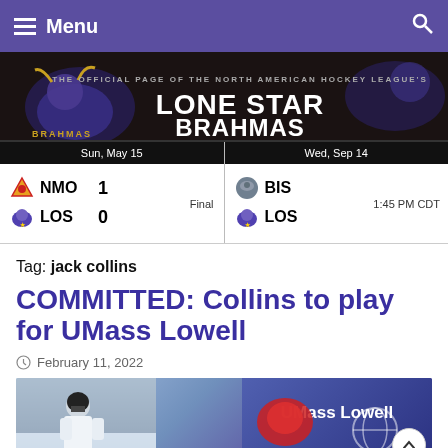Menu
[Figure (illustration): Lone Star Brahmas official page banner with bull mascot logo and text: THE OFFICIAL PAGE OF THE NORTH AMERICAN HOCKEY LEAGUE'S LONE STAR BRAHMAS]
| Date | Team1 | Score1 | Status | Team2 | Score2 | Time |
| --- | --- | --- | --- | --- | --- | --- |
| Sun, May 15 | NMO | 1 | Final | Wed, Sep 14 | BIS | 1:45 PM CDT |
| Sun, May 15 | LOS | 0 | Final | Wed, Sep 14 | LOS | 1:45 PM CDT |
Tag: jack collins
COMMITTED: Collins to play for UMass Lowell
February 11, 2022
[Figure (photo): Hockey player in white jersey on ice rink, with UMass Lowell logo visible on right side]